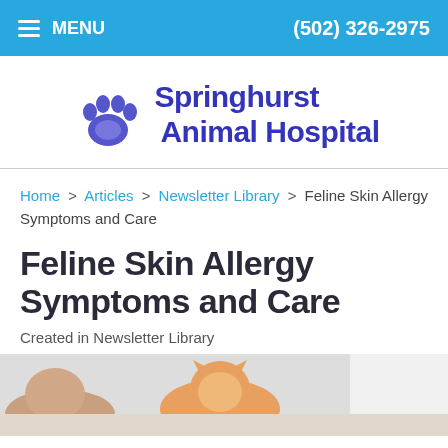MENU | (502) 326-2975
[Figure (logo): Springhurst Animal Hospital logo with blue paw print icon and blue text]
Home > Articles > Newsletter Library > Feline Skin Allergy Symptoms and Care
Feline Skin Allergy Symptoms and Care
Created in Newsletter Library
[Figure (photo): Photo of cats, partially visible at bottom of page]